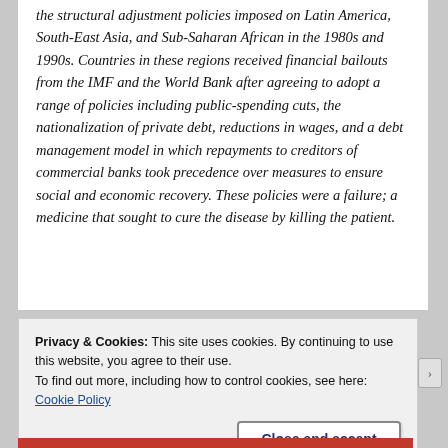the structural adjustment policies imposed on Latin America, South-East Asia, and Sub-Saharan African in the 1980s and 1990s. Countries in these regions received financial bailouts from the IMF and the World Bank after agreeing to adopt a range of policies including public-spending cuts, the nationalization of private debt, reductions in wages, and a debt management model in which repayments to creditors of commercial banks took precedence over measures to ensure social and economic recovery. These policies were a failure; a medicine that sought to cure the disease by killing the patient.
Privacy & Cookies: This site uses cookies. By continuing to use this website, you agree to their use. To find out more, including how to control cookies, see here: Cookie Policy
Close and accept